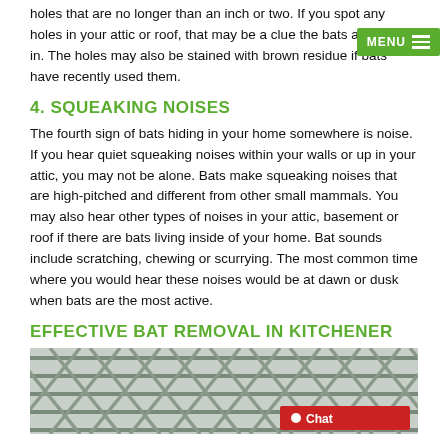holes that are no longer than an inch or two. If you spot any holes in your attic or roof, that may be a clue the bats are coming in. The holes may also be stained with brown residue if bats have recently used them.
4. SQUEAKING NOISES
The fourth sign of bats hiding in your home somewhere is noise. If you hear quiet squeaking noises within your walls or up in your attic, you may not be alone. Bats make squeaking noises that are high-pitched and different from other small mammals. You may also hear other types of noises in your attic, basement or roof if there are bats living inside of your home. Bat sounds include scratching, chewing or scurrying. The most common time where you would hear these noises would be at dawn or dusk when bats are the most active.
EFFECTIVE BAT REMOVAL IN KITCHENER
[Figure (photo): Close-up photo of a metal wire mesh/grid fence or screen, gray metallic diamond pattern on a light background, viewed from below or at angle.]